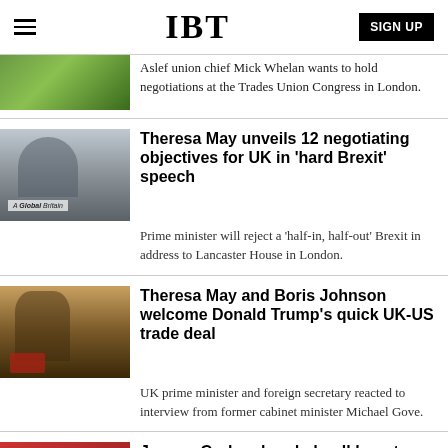IBT | SIGN UP
Aslef union chief Mick Whelan wants to hold negotiations at the Trades Union Congress in London.
Theresa May unveils 12 negotiating objectives for UK in 'hard Brexit' speech
Prime minister will reject a 'half-in, half-out' Brexit in address to Lancaster House in London.
Theresa May and Boris Johnson welcome Donald Trump's quick UK-US trade deal
UK prime minister and foreign secretary reacted to interview from former cabinet minister Michael Gove.
Jeremy Corbyn handed poll boost ahead of showdown with